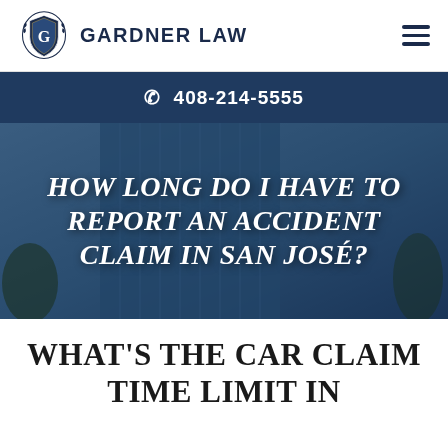[Figure (logo): Gardner Law logo with shield emblem containing letter G and laurel wreath, followed by GARDNER LAW text]
📞 408-214-5555
HOW LONG DO I HAVE TO REPORT AN ACCIDENT CLAIM IN SAN JOSÉ?
WHAT'S THE CAR CLAIM TIME LIMIT IN